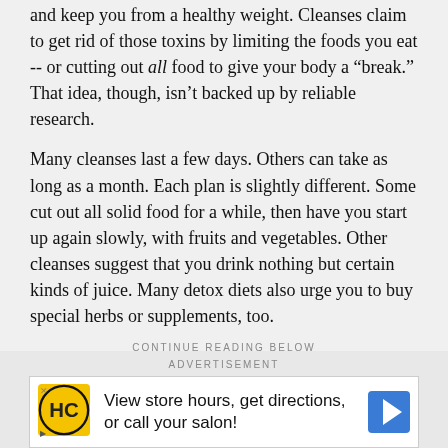and keep you from a healthy weight. Cleanses claim to get rid of those toxins by limiting the foods you eat -- or cutting out all food to give your body a "break." That idea, though, isn't backed up by reliable research.
Many cleanses last a few days. Others can take as long as a month. Each plan is slightly different. Some cut out all solid food for a while, then have you start up again slowly, with fruits and vegetables. Other cleanses suggest that you drink nothing but certain kinds of juice. Many detox diets also urge you to buy special herbs or supplements, too.
CONTINUE READING BELOW
ADVERTISEMENT
[Figure (screenshot): Advertisement banner for a local salon/hair care service showing HC logo, text 'View store hours, get directions, or call your salon!' and a blue navigation arrow icon.]